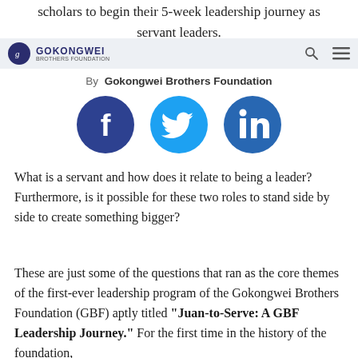scholars to begin their 5-week leadership journey as servant leaders.
GOKONGWEI (logo navigation bar)
By Gokongwei Brothers Foundation
[Figure (other): Social media share icons: Facebook, Twitter, LinkedIn]
What is a servant and how does it relate to being a leader? Furthermore, is it possible for these two roles to stand side by side to create something bigger?
These are just some of the questions that ran as the core themes of the first-ever leadership program of the Gokongwei Brothers Foundation (GBF) aptly titled "Juan-to-Serve: A GBF Leadership Journey." For the first time in the history of the foundation,